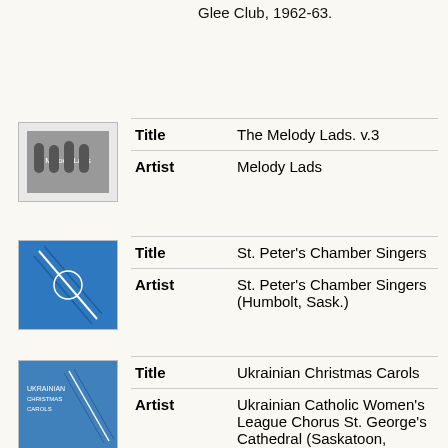Glee Club, 1962-63.
| Field | Value |
| --- | --- |
| Title | The Melody Lads. v.3 |
| Artist | Melody Lads |
| Field | Value |
| --- | --- |
| Title | St. Peter's Chamber Singers |
| Artist | St. Peter's Chamber Singers (Humbolt, Sask.) |
| Field | Value |
| --- | --- |
| Title | Ukrainian Christmas Carols |
| Artist | Ukrainian Catholic Women's League Chorus St. George's Cathedral (Saskatoon, Sask.) |
| Field | Value |
| --- | --- |
| Title | Ukrainian Christmas Carols |